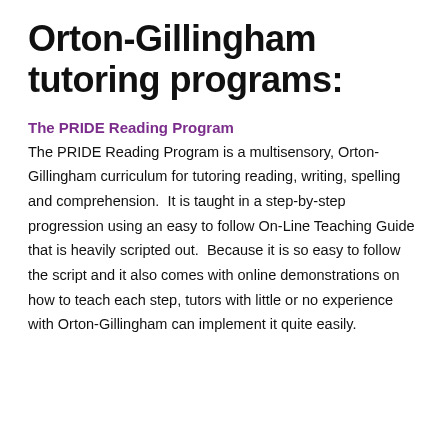Orton-Gillingham tutoring programs:
The PRIDE Reading Program
The PRIDE Reading Program is a multisensory, Orton-Gillingham curriculum for tutoring reading, writing, spelling and comprehension.  It is taught in a step-by-step progression using an easy to follow On-Line Teaching Guide that is heavily scripted out.  Because it is so easy to follow the script and it also comes with online demonstrations on how to teach each step, tutors with little or no experience with Orton-Gillingham can implement it quite easily.